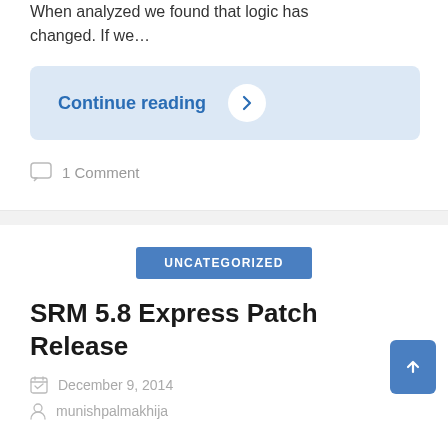When analyzed we found that logic has changed. If we…
Continue reading →
1 Comment
UNCATEGORIZED
SRM 5.8 Express Patch Release
December 9, 2014
munishpalmakhija